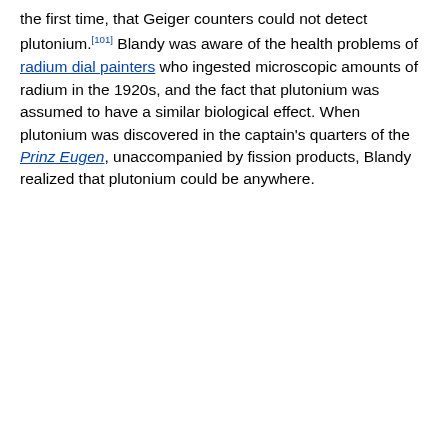the first time, that Geiger counters could not detect plutonium.[101] Blandy was aware of the health problems of radium dial painters who ingested microscopic amounts of radium in the 1920s, and the fact that plutonium was assumed to have a similar biological effect. When plutonium was discovered in the captain's quarters of the Prinz Eugen, unaccompanied by fission products, Blandy realized that plutonium could be anywhere.